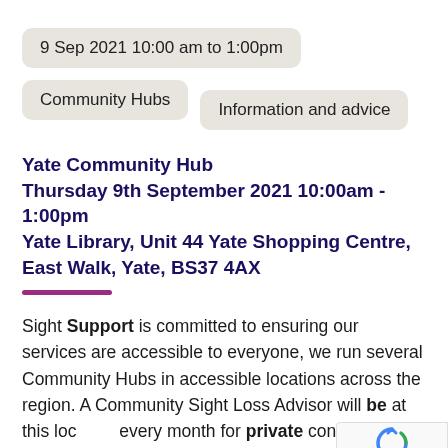9 Sep 2021 10:00 am to 1:00pm
Community Hubs
Information and advice
Yate Community Hub
Thursday 9th September 2021 10:00am - 1:00pm
Yate Library, Unit 44 Yate Shopping Centre, East Walk, Yate, BS37 4AX
Sight Support is committed to ensuring our services are accessible to everyone, we run several Community Hubs in accessible locations across the region. A Community Sight Loss Advisor will be at this location every month for private consultations.